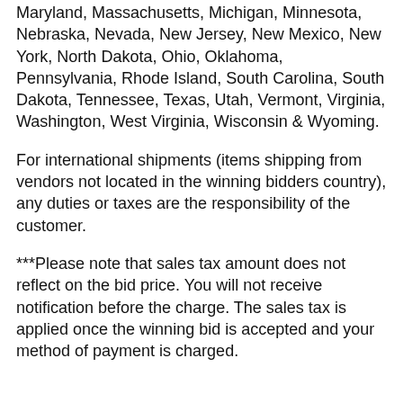Maryland, Massachusetts, Michigan, Minnesota, Nebraska, Nevada, New Jersey, New Mexico, New York, North Dakota, Ohio, Oklahoma, Pennsylvania, Rhode Island, South Carolina, South Dakota, Tennessee, Texas, Utah, Vermont, Virginia, Washington, West Virginia, Wisconsin & Wyoming.
For international shipments (items shipping from vendors not located in the winning bidders country), any duties or taxes are the responsibility of the customer.
***Please note that sales tax amount does not reflect on the bid price. You will not receive notification before the charge. The sales tax is applied once the winning bid is accepted and your method of payment is charged.